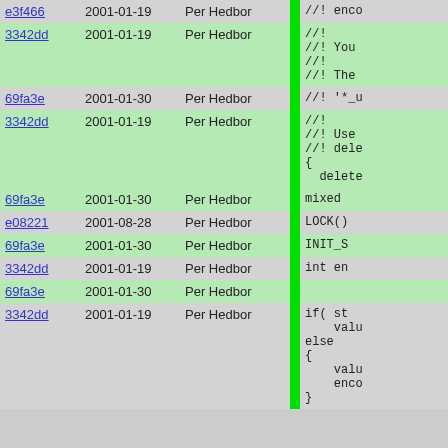| Hash | Date | Author |  | Code |
| --- | --- | --- | --- | --- |
| e3f466 | 2001-01-19 | Per Hedbor |  | //! enco |
| 3342dd | 2001-01-19 | Per Hedbor |  | //!
//! You
//!
//! The |
| 69fa3e | 2001-01-30 | Per Hedbor |  | //! '*_u |
| 3342dd | 2001-01-19 | Per Hedbor |  | //!
//! Use
//! dele
{
  delete |
| 69fa3e | 2001-01-30 | Per Hedbor |  | mixed |
| e08221 | 2001-08-28 | Per Hedbor |  | LOCK() |
| 69fa3e | 2001-01-30 | Per Hedbor |  | INIT_S |
| 3342dd | 2001-01-19 | Per Hedbor |  | int en |
| 69fa3e | 2001-01-30 | Per Hedbor |  |  |
| 3342dd | 2001-01-19 | Per Hedbor |  | if( st
    valu
else
{
    valu
    enco
} |